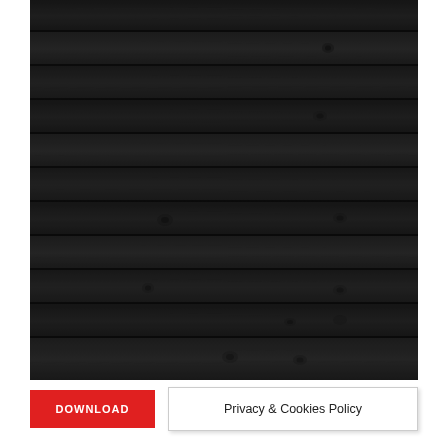[Figure (photo): Dark black-painted horizontal wood plank wall texture with visible knots and grain, photographed from straight-on angle]
DOWNLOAD
Privacy & Cookies Policy